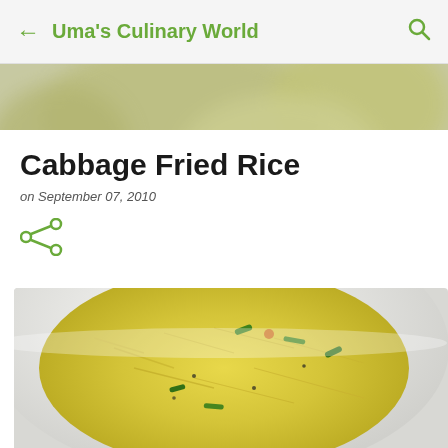Uma's Culinary World
[Figure (photo): Blurred background hero image showing green/yellow food items]
Cabbage Fried Rice
on September 07, 2010
[Figure (illustration): Share icon (green)]
[Figure (photo): Close-up photo of Cabbage Fried Rice in a white bowl, garnished with green onions]